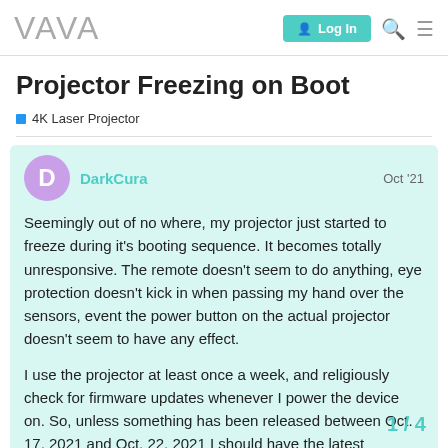VAVA | Log In
Projector Freezing on Boot
4K Laser Projector
DarkCura Oct '21

Seemingly out of no where, my projector just started to freeze during it's booting sequence. It becomes totally unresponsive. The remote doesn't seem to do anything, eye protection doesn't kick in when passing my hand over the sensors, event the power button on the actual projector doesn't seem to have any effect.

I use the projector at least once a week, and religiously check for firmware updates whenever I power the device on. So, unless something has been released between Oct. 17, 2021 and Oct. 22, 2021 I should have the latest
1 / 4